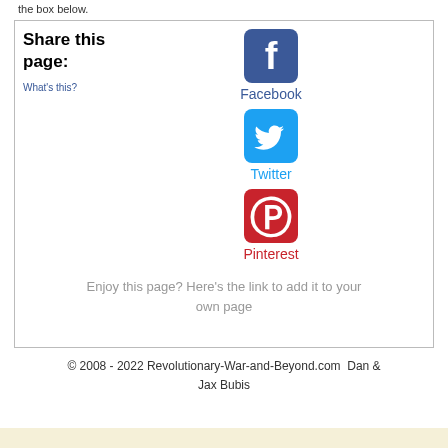the box below.
[Figure (infographic): Share this page box with Facebook, Twitter, and Pinterest social media icons and labels, plus a 'What's this?' link and 'Enjoy this page? Here's the link to add it to your own page' text.]
© 2008 - 2022 Revolutionary-War-and-Beyond.com  Dan & Jax Bubis